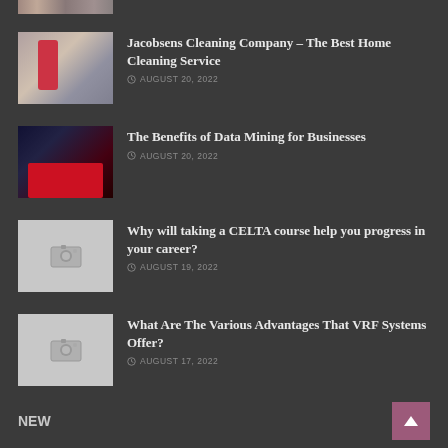[Figure (photo): Partial image of colorful items at very top of page, cropped]
Jacobsens Cleaning Company – The Best Home Cleaning Service
AUGUST 20, 2022
The Benefits of Data Mining for Businesses
AUGUST 20, 2022
Why will taking a CELTA course help you progress in your career?
AUGUST 19, 2022
What Are The Various Advantages That VRF Systems Offer?
AUGUST 17, 2022
NEW